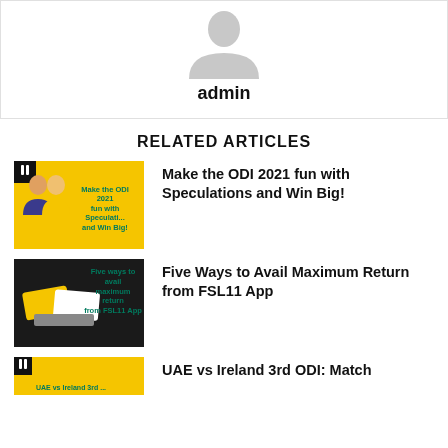[Figure (illustration): Grey person/avatar silhouette placeholder image centered in a white box with border]
admin
RELATED ARTICLES
[Figure (photo): Yellow background thumbnail with text: Make the ODI 2021 fun with Speculations and Win Big! - shows two people using phone]
Make the ODI 2021 fun with Speculations and Win Big!
[Figure (photo): Yellow background thumbnail with text: Five ways to avail maximum return from FSL11 App - shows cards/money on black surface]
Five Ways to Avail Maximum Return from FSL11 App
[Figure (photo): Yellow background thumbnail partially visible at bottom with text about UAE vs Ireland 3rd ODI]
UAE vs Ireland 3rd ODI: Match